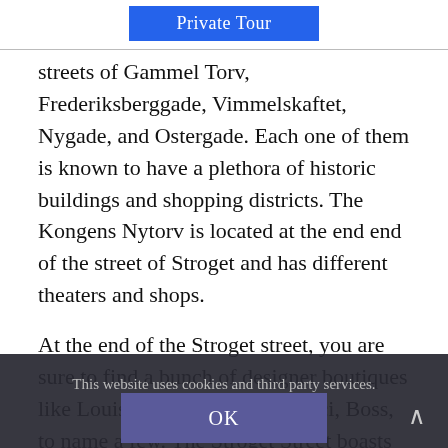Private Tour
streets of Gammel Torv, Frederiksberggade, Vimmelskaftet, Nygade, and Ostergade. Each one of them is known to have a plethora of historic buildings and shopping districts. The Kongens Nytorv is located at the end end of the street of Stroget and has different theaters and shops.
At the end of the Stroget street, you are sure to find a bunch of designer boutiques like Louis Vuitton, Chanel, Gucci, Boss, to name a few. The Stroget Street boasts of
This website uses cookies and third party services.
OK